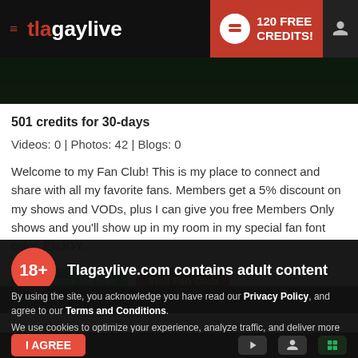tlagaylive — 120 FREE CREDITS!
[Figure (screenshot): Dark background image at the top of the page]
501 credits for 30-days
Videos: 0 | Photos: 42 | Blogs: 0
Welcome to my Fan Club! This is my place to connect and share with all my favorite fans. Members get a 5% discount on my shows and VODs, plus I can give you free Members Only shows and you'll show up in my room in my special fan font color. ENJOY...
Become My Fan | Visit Fan Club
18+ Tlagaylive.com contains adult content
By using the site, you acknowledge you have read our Privacy Policy, and agree to our Terms and Conditions.
We use cookies to optimize your experience, analyze traffic, and deliver more personalized service. To learn more, please see our Privacy Policy.
I AGREE